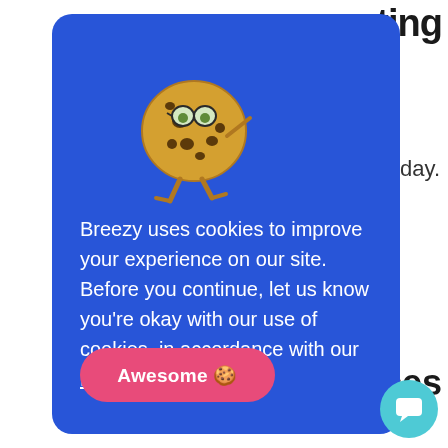[Figure (screenshot): Cookie consent modal popup from Breezy HR website. Blue modal on white background with illustrated cookie character wearing glasses, pink 'Awesome' button, and cookie consent text.]
Breezy uses cookies to improve your experience on our site. Before you continue, let us know you're okay with our use of cookies, in accordance with our Privacy Policy.
Awesome 🍪